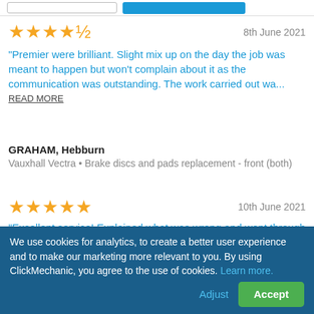[Figure (other): Partial search bar UI with input field and blue button at top]
8th June 2021
“Premier were brilliant. Slight mix up on the day the job was meant to happen but won’t complain about it as the communication was outstanding. The work carried out wa... READ MORE
GRAHAM, Hebburn
Vauxhall Vectra • Brake discs and pads replacement - front (both)
10th June 2021
“Excellent service! Explained what was wrong and went through all the options.”
BILAL, Tyne And Wear
Hyundai i10 • Diagnostic Inspection
We use cookies for analytics, to create a better user experience and to make our marketing more relevant to you. By using ClickMechanic, you agree to the use of cookies. Learn more.